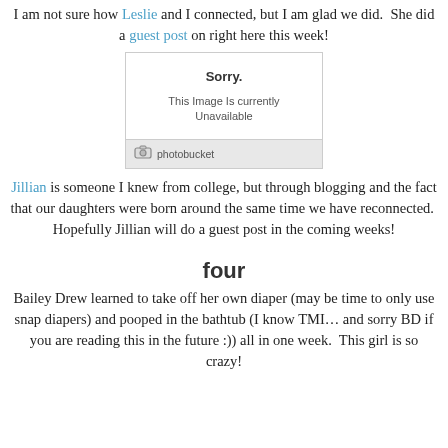I am not sure how Leslie and I connected, but I am glad we did.  She did a guest post on right here this week!
[Figure (screenshot): Photobucket image unavailable placeholder box showing 'Sorry. This Image Is currently Unavailable' with Photobucket logo footer]
Jillian is someone I knew from college, but through blogging and the fact that our daughters were born around the same time we have reconnected.  Hopefully Jillian will do a guest post in the coming weeks!
four
Bailey Drew learned to take off her own diaper (may be time to only use snap diapers) and pooped in the bathtub (I know TMI… and sorry BD if you are reading this in the future :)) all in one week.  This girl is so crazy!